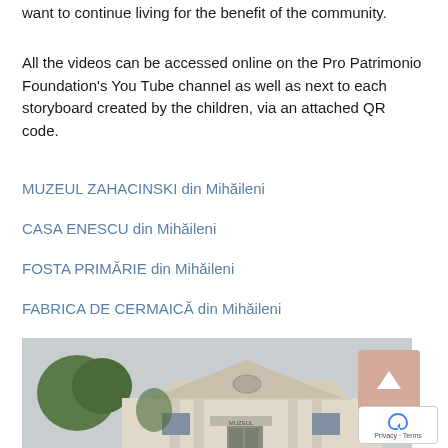want to continue living for the benefit of the community.
All the videos can be accessed online on the Pro Patrimonio Foundation's You Tube channel as well as next to each storyboard created by the children, via an attached QR code.
MUZEUL ZAHACINSKI din Mihăileni
CASA ENESCU din Mihăileni
FOSTA PRIMĂRIE din Mihăileni
FABRICA DE CERMAICĂ din Mihăileni
[Figure (photo): Historic building in Mihăileni — a neoclassical structure with a triangular pediment, decorative columns, and weathered facade surrounded by trees.]